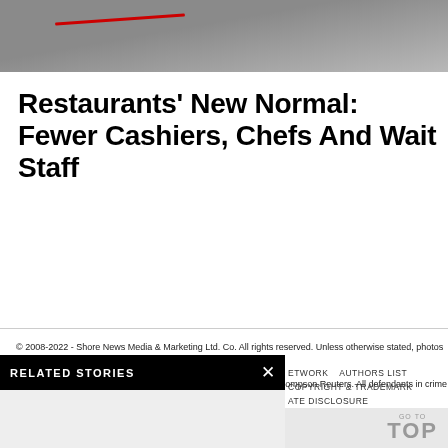[Figure (photo): Top portion of a photo showing a floor or ground surface in gray tones with a red wire or cord visible]
Restaurants' New Normal: Fewer Cashiers, Chefs And Wait Staff
© 2008-2022 - Shore News Media & Marketing Ltd. Co. All rights reserved. Unless otherwise stated, photos © Big Stock Photography © Dreamstime Photos © Google Maps © Thompson Reuters. All defendants in crime proven guilty.
RELATED STORIES
ETWORK    AUTHORS LIST
COPYRIGHT & TRADEMARK
ATE DISCLOSURE
GO TO
TOP